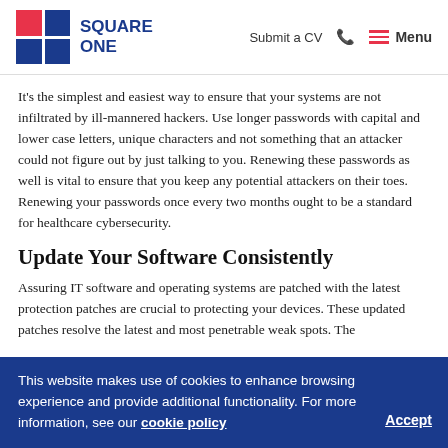Square One | Submit a CV | Menu
It's the simplest and easiest way to ensure that your systems are not infiltrated by ill-mannered hackers. Use longer passwords with capital and lower case letters, unique characters and not something that an attacker could not figure out by just talking to you. Renewing these passwords as well is vital to ensure that you keep any potential attackers on their toes. Renewing your passwords once every two months ought to be a standard for healthcare cybersecurity.
Update Your Software Consistently
Assuring IT software and operating systems are patched with the latest protection patches are crucial to protecting your devices. These updated patches resolve the latest and most penetrable weak spots. The
This website makes use of cookies to enhance browsing experience and provide additional functionality. For more information, see our cookie policy